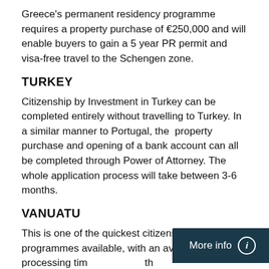Greece's permanent residency programme requires a property purchase of €250,000 and will enable buyers to gain a 5 year PR permit and visa-free travel to the Schengen zone.
TURKEY
Citizenship by Investment in Turkey can be completed entirely without travelling to Turkey. In a similar manner to Portugal, the property purchase and opening of a bank account can all be completed through Power of Attorney. The whole application process will take between 3-6 months.
VANUATU
This is one of the quickest citizenship programmes available, with an average processing time of 2-3 months. No travel is required to initiate the application. The applicant has the option to either collect the passport